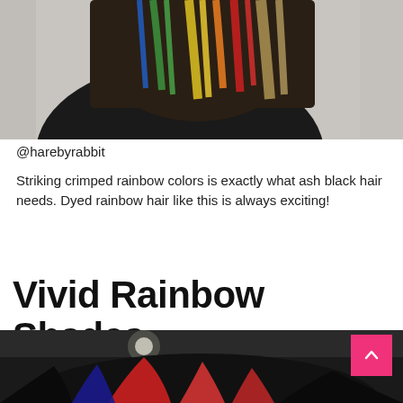[Figure (photo): Back of person's head showing ash black hair with vivid crimped rainbow color highlights — red, yellow, green, blue stripes visible against dark backdrop]
@harebyrabbit
Striking crimped rainbow colors is exactly what ash black hair needs. Dyed rainbow hair like this is always exciting!
Vivid Rainbow Shades
[Figure (photo): Back of person's dark hair with vivid red, blue, and black color sections, partially visible, salon setting with lights in background]